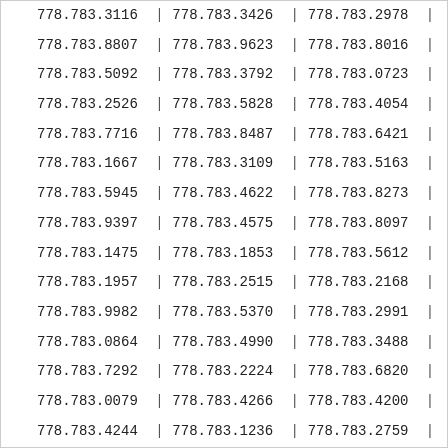| col1 | sep1 | col2 | sep2 | col3 | sep3 |
| --- | --- | --- | --- | --- | --- |
| 778.783.3116 | | | 778.783.3426 | | | 778.783.2978 | | |
| 778.783.8807 | | | 778.783.9623 | | | 778.783.8016 | | |
| 778.783.5092 | | | 778.783.3792 | | | 778.783.0723 | | |
| 778.783.2526 | | | 778.783.5828 | | | 778.783.4054 | | |
| 778.783.7716 | | | 778.783.8487 | | | 778.783.6421 | | |
| 778.783.1667 | | | 778.783.3109 | | | 778.783.5163 | | |
| 778.783.5945 | | | 778.783.4622 | | | 778.783.8273 | | |
| 778.783.9397 | | | 778.783.4575 | | | 778.783.8097 | | |
| 778.783.1475 | | | 778.783.1853 | | | 778.783.5612 | | |
| 778.783.1957 | | | 778.783.2515 | | | 778.783.2168 | | |
| 778.783.9982 | | | 778.783.5370 | | | 778.783.2991 | | |
| 778.783.0864 | | | 778.783.4990 | | | 778.783.3488 | | |
| 778.783.7292 | | | 778.783.2224 | | | 778.783.6820 | | |
| 778.783.0079 | | | 778.783.4266 | | | 778.783.4200 | | |
| 778.783.4244 | | | 778.783.1236 | | | 778.783.2759 | | |
| 778.783.3533 | | | 778.783.0127 | | | 778.783.4412 | | |
| 778.783.1477 | | | 778.783.3904 | | | 778.783.2437 | | |
| 778.783.8944 | | | 778.783.7153 | | | 778.783.4879 | | |
| 778.783.2360 | | | 778.783.0917 | | | 778.783.6495 | | |